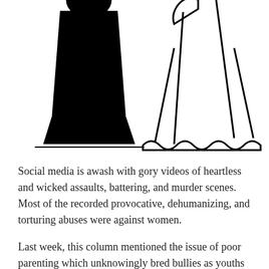[Figure (illustration): Silhouette illustration showing two figures: a black silhouette of a person (left) appearing domineering/aggressive, and an outline drawing of a person in a dress (right) appearing submissive. The figures stand side by side with a scalloped/wavy line at the bottom hem of the dress figure.]
Social media is awash with gory videos of heartless and wicked assaults, battering, and murder scenes. Most of the recorded provocative, dehumanizing, and torturing abuses were against women.
Last week, this column mentioned the issue of poor parenting which unknowingly bred bullies as youths that